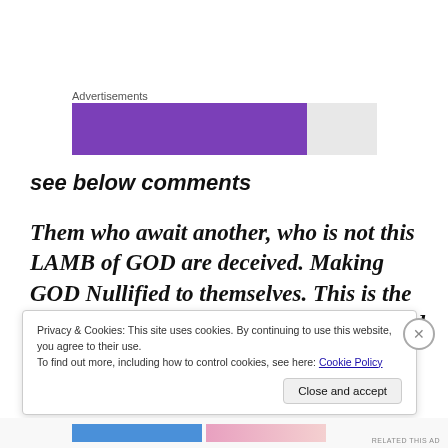Advertisements
[Figure (other): Advertisement banner with purple and gray blocks]
see below comments
Them who await another, who is not this LAMB of GOD are deceived. Making GOD Nullified to themselves. This is the WORKING of Satan and his minions and their proselytes,
Privacy & Cookies: This site uses cookies. By continuing to use this website, you agree to their use.
To find out more, including how to control cookies, see here: Cookie Policy
Close and accept